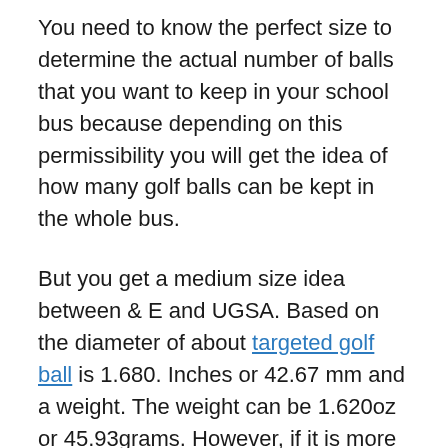You need to know the perfect size to determine the actual number of balls that you want to keep in your school bus because depending on this permissibility you will get the idea of how many golf balls can be kept in the whole bus.
But you get a medium size idea between & E and UGSA. Based on the diameter of about targeted golf ball is 1.680. Inches or 42.67 mm and a weight. The weight can be 1.620oz or 45.93grams. However, if it is more than that, there may be a problem.
However, some players also use larger golf balls. Smaller ones are avoided. And most players find it